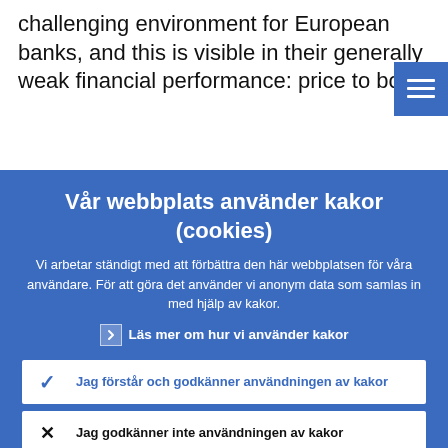challenging environment for European banks, and this is visible in their generally weak financial performance: price to boo
Vår webbplats använder kakor (cookies)
Vi arbetar ständigt med att förbättra den här webbplatsen för våra användare. För att göra det använder vi anonym data som samlas in med hjälp av kakor.
Läs mer om hur vi använder kakor
Jag förstår och godkänner användningen av kakor
Jag godkänner inte användningen av kakor